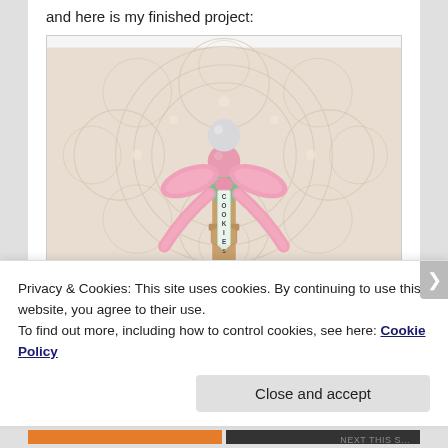and here is my finished project:
[Figure (photo): A craft project showing colorful round candy/ball embellishments stacked on what appears to be a wooden kitchen utensil handle, decorated with a pink polka-dot ribbon bow and a vertical tag reading 'COOKIES', placed against a white crocheted lace doily background.]
Privacy & Cookies: This site uses cookies. By continuing to use this website, you agree to their use.
To find out more, including how to control cookies, see here: Cookie Policy
Close and accept